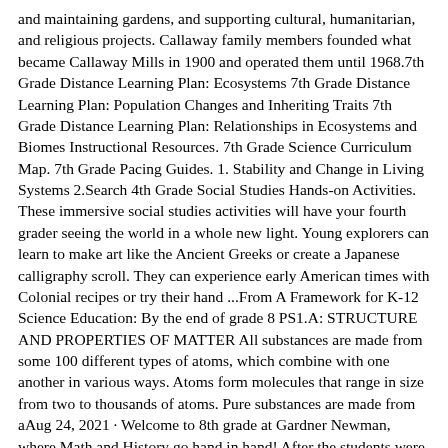and maintaining gardens, and supporting cultural, humanitarian, and religious projects. Callaway family members founded what became Callaway Mills in 1900 and operated them until 1968.7th Grade Distance Learning Plan: Ecosystems 7th Grade Distance Learning Plan: Population Changes and Inheriting Traits 7th Grade Distance Learning Plan: Relationships in Ecosystems and Biomes Instructional Resources. 7th Grade Science Curriculum Map. 7th Grade Pacing Guides. 1. Stability and Change in Living Systems 2.Search 4th Grade Social Studies Hands-on Activities. These immersive social studies activities will have your fourth grader seeing the world in a whole new light. Young explorers can learn to make art like the Ancient Greeks or create a Japanese calligraphy scroll. They can experience early American times with Colonial recipes or try their hand ...From A Framework for K-12 Science Education: By the end of grade 8 PS1.A: STRUCTURE AND PROPERTIES OF MATTER All substances are made from some 100 different types of atoms, which combine with one another in various ways. Atoms form molecules that range in size from two to thousands of atoms. Pure substances are made from aAug 24, 2021 · Welcome to 8th grade at Gardner Newman, where Math and History go hand in hand! After the students were introduced to Georgia's 5 Regions in Georgia History, students then completed a coordinate... The middle school program in Carroll County emphasizes a rigorous curriculum which includes reading/literature, language arts, mathematics, science, social